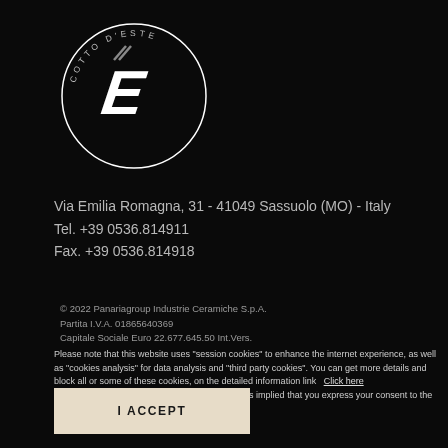[Figure (logo): Cotto d'Este circular logo in white on black background, featuring a stylized 'E' with apostrophe and text 'COTTO D'ESTE' around the circle]
Via Emilia Romagna, 31 - 41049 Sassuolo (MO) - Italy
Tel. +39 0536.814911
Fax. +39 0536.814918
© 2022 Panariagroup Industrie Ceramiche S.p.A.
Partita I.V.A. 01865640369
Capitale Sociale Euro 22.677.645.50 Int.Vers.
Please note that this website uses "session cookies" to enhance the internet experience, as well as "cookies analysis" for data analysis and "third party cookies". You can get more details and block all or some of these cookies, on the detailed information link  Click here
If you continue with the navigation on this site, it is implied that you express your consent to the use of these cookies.
I ACCEPT